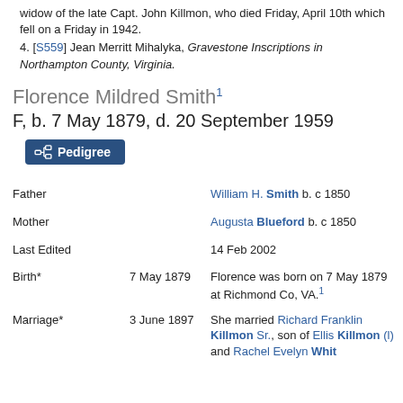widow of the late Capt. John Killmon, who died Friday, April 10th which fell on a Friday in 1942.
[S559] Jean Merritt Mihalyka, Gravestone Inscriptions in Northampton County, Virginia.
Florence Mildred Smith1
F, b. 7 May 1879, d. 20 September 1959
Pedigree
|  |  |  |
| --- | --- | --- |
| Father |  | William H. Smith b. c 1850 |
| Mother |  | Augusta Blueford b. c 1850 |
| Last Edited |  | 14 Feb 2002 |
| Birth* | 7 May 1879 | Florence was born on 7 May 1879 at Richmond Co, VA.1 |
| Marriage* | 3 June 1897 | She married Richard Franklin Killmon Sr., son of Ellis Killmon (l) and Rachel Evelyn Whit... 3 Jun 1897 |